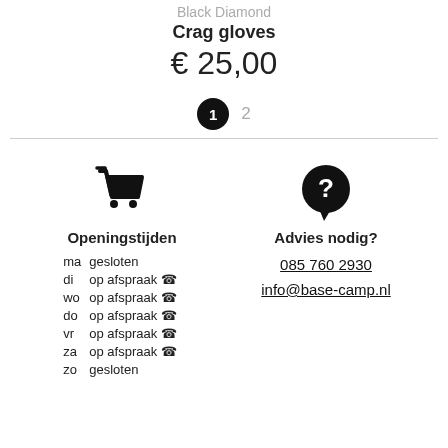Black Diamond
Crag gloves
€ 25,00
1  2
[Figure (illustration): Shopping cart icon]
[Figure (illustration): Question mark / help icon]
Openingstijden
| ma | gesloten |
| di | op afspraak ☎ |
| wo | op afspraak ☎ |
| do | op afspraak ☎ |
| vr | op afspraak ☎ |
| za | op afspraak ☎ |
| zo | gesloten |
Advies nodig?
085 760 2930
info@base-camp.nl